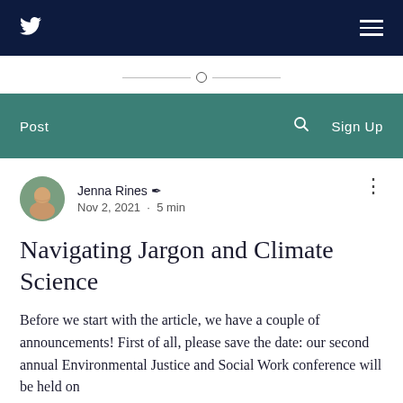Twitter icon | Hamburger menu
[Figure (other): Decorative divider with horizontal lines and a small circle in the center]
Post | Search icon | Sign Up
Jenna Rines ✒ Nov 2, 2021 · 5 min
Navigating Jargon and Climate Science
Before we start with the article, we have a couple of announcements! First of all, please save the date: our second annual Environmental Justice and Social Work conference will be held on